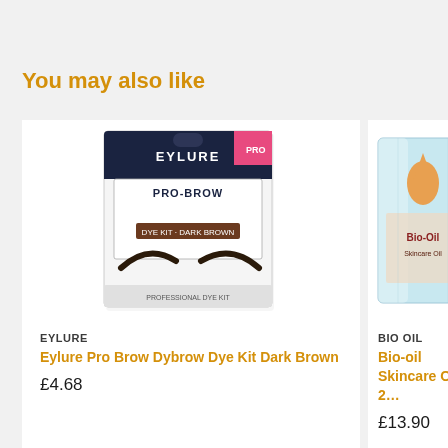You may also like
[Figure (photo): Eylure Pro Brow Dybrow Dye Kit Dark Brown product packaging — a black and pink box showing eyebrow stencils]
EYLURE
Eylure Pro Brow Dybrow Dye Kit Dark Brown
£4.68
[Figure (photo): Bio Oil Skincare Oil bottle — light blue and pink packaging, partially visible on right side]
BIO OIL
Bio-oil Skincare Oil 2…
£13.90